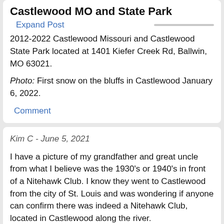Castlewood MO and State Park
Expand Post
2012-2022 Castlewood Missouri and Castlewood State Park located at 1401 Kiefer Creek Rd, Ballwin, MO 63021.
Photo: First snow on the bluffs in Castlewood January 6, 2022.
Comment
Kim C - June 5, 2021
I have a picture of my grandfather and great uncle from what I believe was the 1930's or 1940's in front of a Nitehawk Club. I know they went to Castlewood from the city of St. Louis and was wondering if anyone can confirm there was indeed a Nitehawk Club, located in Castlewood along the river.